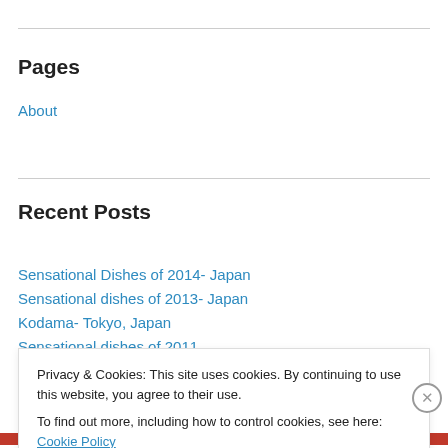Pages
About
Recent Posts
Sensational Dishes of 2014- Japan
Sensational dishes of 2013- Japan
Kodama- Tokyo, Japan
Sensational dishes of 2011
Atelier Crenn- San Francisco, CA
Privacy & Cookies: This site uses cookies. By continuing to use this website, you agree to their use.
To find out more, including how to control cookies, see here: Cookie Policy